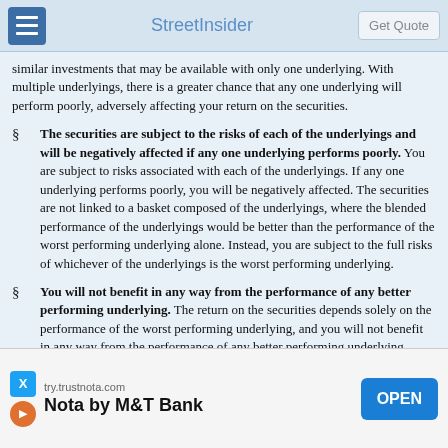StreetInsider
similar investments that may be available with only one underlying. With multiple underlyings, there is a greater chance that any one underlying will perform poorly, adversely affecting your return on the securities.
The securities are subject to the risks of each of the underlyings and will be negatively affected if any one underlying performs poorly. You are subject to risks associated with each of the underlyings. If any one underlying performs poorly, you will be negatively affected. The securities are not linked to a basket composed of the underlyings, where the blended performance of the underlyings would be better than the performance of the worst performing underlying alone. Instead, you are subject to the full risks of whichever of the underlyings is the worst performing underlying.
You will not benefit in any way from the performance of any better performing underlying. The return on the securities depends solely on the performance of the worst performing underlying, and you will not benefit in any way from the performance of any better performing underlying.
You will be subject to risks relating to the relationship between the underlyings. It is preferable from your perspective for the underlyings to be correlated with each other in the sense that similar ti... similar curities, w... this